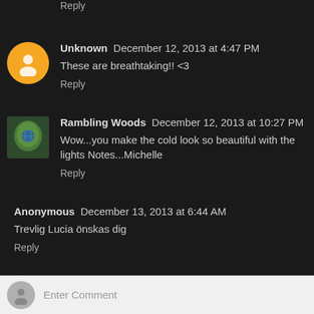Reply
Unknown  December 12, 2013 at 4:47 PM
These are breathtaking!! <3
Reply
Rambling Woods  December 12, 2013 at 10:27 PM
Wow...you make the cold look so beautiful with the lights Notes...Michelle
Reply
Anonymous  December 13, 2013 at 6:44 AM
Trevlig Lucia önskas dig
Reply
Enter Comment